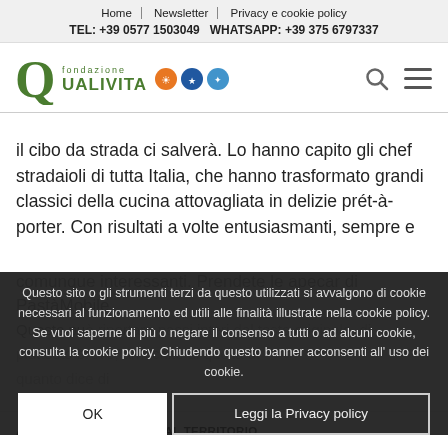Home | Newsletter | Privacy e cookie policy
TEL: +39 0577 1503049 WHATSAPP: +39 375 6797337
[Figure (logo): Fondazione Qualivita logo with Q symbol and three colored circular icons (orange, dark blue, light blue), plus search and menu icons on the right]
il cibo da strada ci salverà. Lo hanno capito gli chef stradaioli di tutta Italia, che hanno trasformato grandi classici della cucina attovagliata in delizie prét-à-porter. Con risultati a volte entusiasmanti, sempre e comunque interessanti. Prendete le apecar di PastàMobile
Questo sito o gli strumenti terzi da questo utilizzati si avvalgono di cookie necessari al funzionamento ed utili alle finalità illustrate nella cookie policy. Se vuoi saperne di più o negare il consenso a tutti o ad alcuni cookie, consulta la cookie policy. Chiudendo questo banner acconsenti all'uso dei cookie.
OK   Leggi la Privacy policy
ARGOMENTI CORRELATI AL TERRITORIO